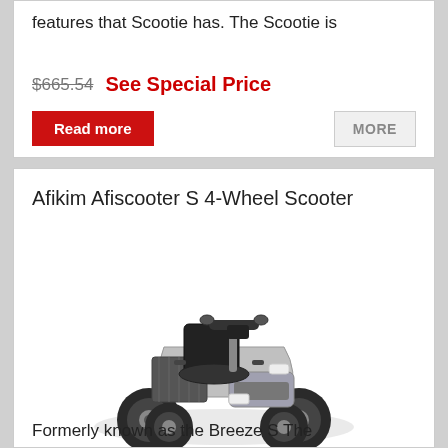features that Scootie has. The Scootie is
$665.54  See Special Price
Read more
MORE
Afikim Afiscooter S 4-Wheel Scooter
[Figure (photo): Silver Afikim Afiscooter S 4-wheel mobility scooter with black seat and four large wheels, viewed from front-right angle]
Formerly known as the Breeze S The